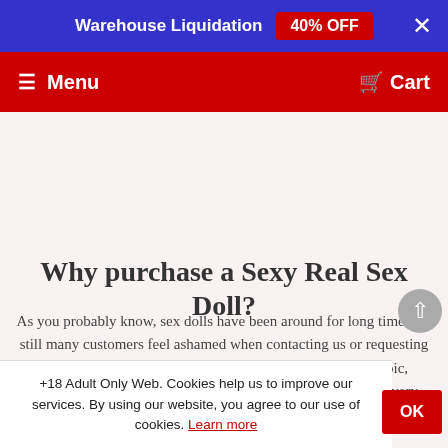Warehouse Liquidation 40% OFF
≡ Menu   🛒 Cart
Why purchase a Sexy Real Sex Doll?
As you probably know, sex dolls have been around for long time, but still many customers feel ashamed when contacting us or requesting information about sex dolls as if sex dolls were a taboo topic, something bad or illegal. But the reality is that sex dolls are very popular these days and even more accepted in
+18 Adult Only Web. Cookies help us to improve our services. By using our website, you agree to our use of cookies. Learn more